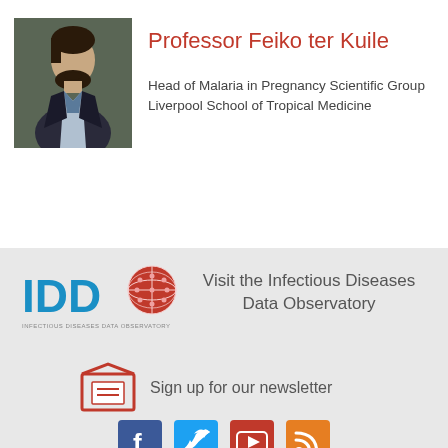Professor Feiko ter Kuile
Head of Malaria in Pregnancy Scientific Group
Liverpool School of Tropical Medicine
[Figure (logo): IDDO - Infectious Diseases Data Observatory logo with globe icon]
Visit the Infectious Diseases Data Observatory
Sign up for our newsletter
[Figure (illustration): Social media icons: Facebook, Twitter, YouTube, RSS feed]